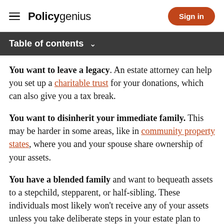Policygenius | Sign in
Table of contents
You want to leave a legacy. An estate attorney can help you set up a charitable trust for your donations, which can also give you a tax break.
You want to disinherit your immediate family. This may be harder in some areas, like in community property states, where you and your spouse share ownership of your assets.
You have a blended family and want to bequeath assets to a stepchild, stepparent, or half-sibling. These individuals most likely won't receive any of your assets unless you take deliberate steps in your estate plan to